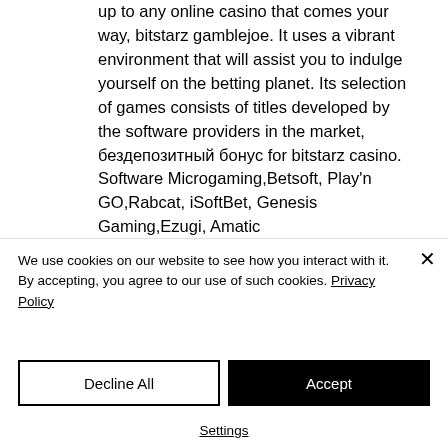up to any online casino that comes your way, bitstarz gamblejoe. It uses a vibrant environment that will assist you to indulge yourself on the betting planet. Its selection of games consists of titles developed by the software providers in the market, бездепозитный бонус for bitstarz casino. Software Microgaming,Betsoft, Play'n GO,Rabcat, iSoftBet, Genesis Gaming,Ezugi, Amatic Industries,BGAMING, mercatox withdrawal time. Android, iOS, Windows
We use cookies on our website to see how you interact with it. By accepting, you agree to our use of such cookies. Privacy Policy
Decline All
Accept
Settings